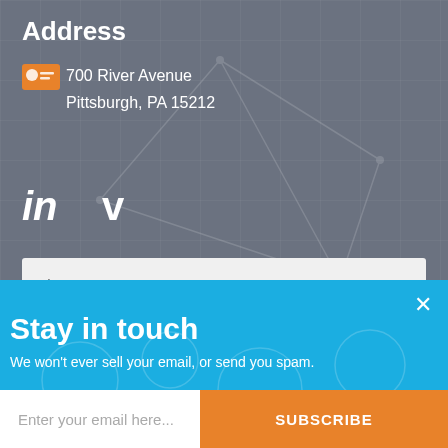Address
700 River Avenue
Pittsburgh, PA 15212
[Figure (illustration): Orange contact card icon]
[Figure (illustration): LinkedIn 'in' logo and Vimeo 'v' logo social media icons in white]
First Name *
Last Name *
Stay in touch
We won't ever sell your email, or send you spam.
Enter your email here...
SUBSCRIBE